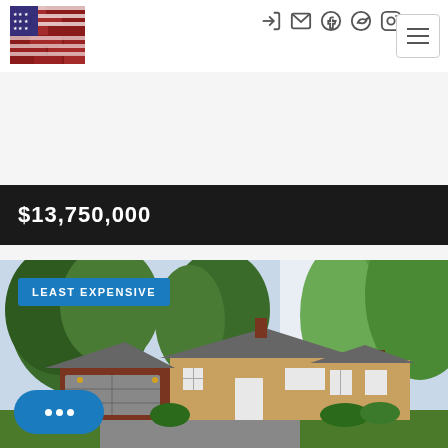[Figure (logo): American flag on brick wall logo]
[Figure (photo): Navigation icons: login, email, facebook, twitter, instagram]
[Figure (other): Hamburger menu icon button]
$13,750,000
[Figure (photo): Exterior photo of a ranch-style house with brick and wood siding, two-car garage, surrounded by trees]
LEAST EXPENSIVE